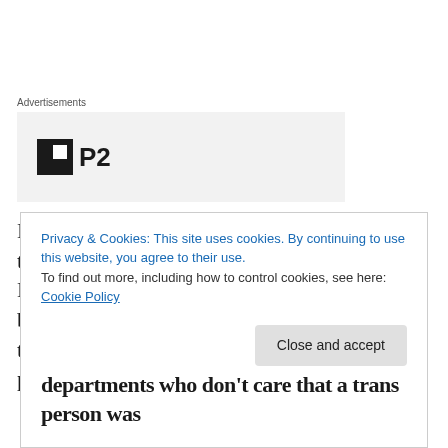Advertisements
[Figure (logo): Advertisement placeholder with HackerNoon H-box icon and 'P2' text label on gray background]
Last week, I attended a small rally to fight transgender violence and police brutality in DC. A trans woman told a story of her boyfriend who chased her around the house, threw knives and other various items at her, punched,
Privacy & Cookies: This site uses cookies. By continuing to use this website, you agree to their use.
To find out more, including how to control cookies, see here: Cookie Policy
departments who don't care that a trans person was